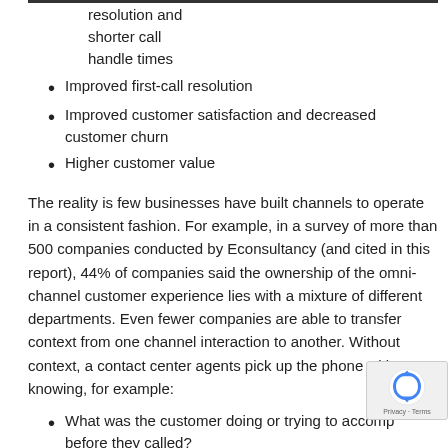resolution and shorter call handle times
Improved first-call resolution
Improved customer satisfaction and decreased customer churn
Higher customer value
The reality is few businesses have built channels to operate in a consistent fashion. For example, in a survey of more than 500 companies conducted by Econsultancy (and cited in this report), 44% of companies said the ownership of the omni-channel customer experience lies with a mixture of different departments. Even fewer companies are able to transfer context from one channel interaction to another. Without context, a contact center agents pick up the phone without knowing, for example:
What was the customer doing or trying to accomplish before they called?
What products or pricing were offered on the website?